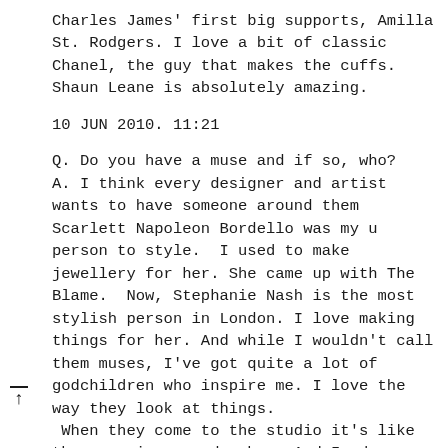Charles James' first big supports, Amilla St. Rodgers. I love a bit of classic Chanel, the guy that makes the cuffs. Shaun Leane is absolutely amazing.
10 JUN 2010. 11:21
Q. Do you have a muse and if so, who?
A. I think every designer and artist wants to have someone around them
Scarlett Napoleon Bordello was my u person to style.  I used to make jewellery for her. She came up with The Blame.  Now, Stephanie Nash is the most stylish person in London. I love making things for her. And while I wouldn't call them muses, I've got quite a lot of godchildren who inspire me. I love the way they look at things.  When they come to the studio it's like they are in a candy shop. And I adore watching them play with my materials.